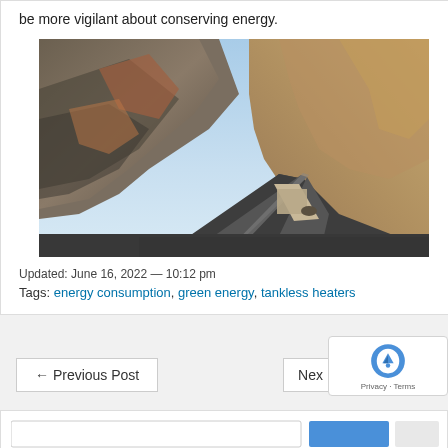be more vigilant about conserving energy.
[Figure (photo): A winding asphalt road through rocky desert canyon terrain with blue sky]
Updated: June 16, 2022 — 10:12 pm
Tags: energy consumption, green energy, tankless heaters
← Previous Post
Nex